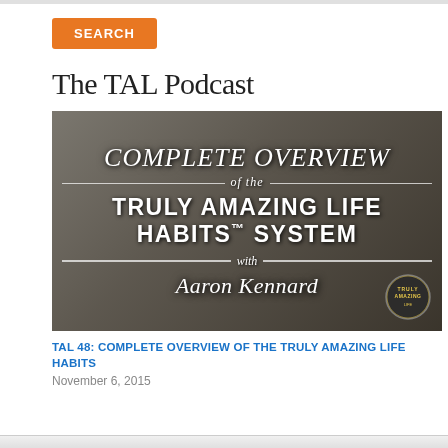SEARCH
The TAL Podcast
[Figure (screenshot): Podcast episode thumbnail image with text: COMPLETE OVERVIEW of the TRULY AMAZING LIFE HABITS™ SYSTEM with Aaron Kennard, featuring a Truly Amazing logo badge.]
TAL 48: COMPLETE OVERVIEW OF THE TRULY AMAZING LIFE HABITS
November 6, 2015